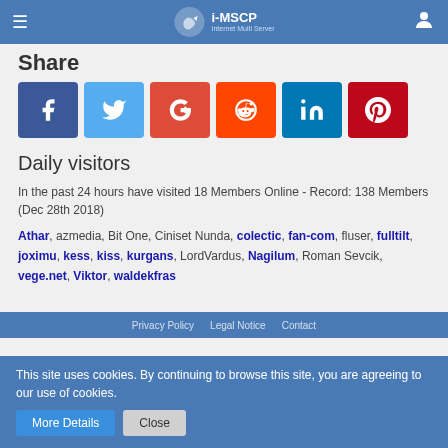i-MSCP Internet Multi Server Control Panel
Share
[Figure (infographic): Six social media share buttons: Facebook (blue), Twitter (light blue), Google+ (red-orange), Reddit (orange-red), LinkedIn (blue), Pinterest (dark red)]
Daily visitors
In the past 24 hours have visited 18 Members Online - Record: 138 Members (Dec 28th 2018)
Athar, azmedia, Bit One, Ciniset Nunda, colectic, fan-com, fluser, fulltilt, joximu, kess, kiss, kurgans, LordVardus, Nagilum, Roman Sevcik, vege.net, Viktor, waldekfras
Privacy Policy  Legal Notice  Contact
This site uses cookies. By continuing to browse this site, you are agreeing to our use of cookies.